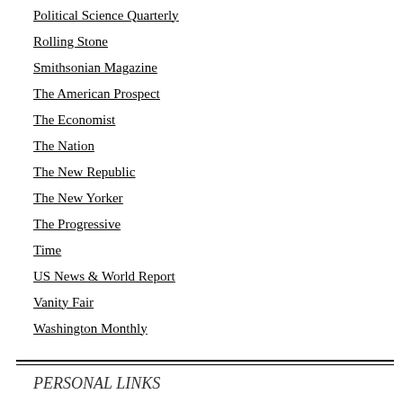Political Science Quarterly
Rolling Stone
Smithsonian Magazine
The American Prospect
The Economist
The Nation
The New Republic
The New Yorker
The Progressive
Time
US News & World Report
Vanity Fair
Washington Monthly
PERSONAL LINKS